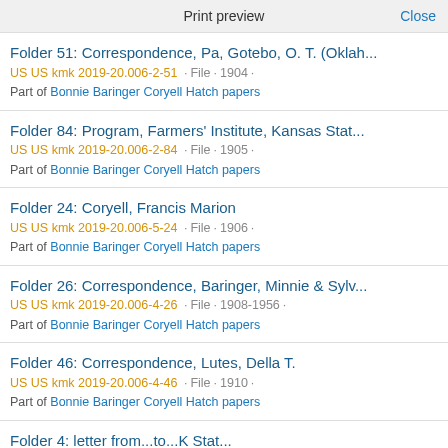Print preview   Close
Folder 51: Correspondence, Pa, Gotebo, O. T. (Oklah...
US US kmk 2019-20.006-2-51 · File · 1904 ·
Part of Bonnie Baringer Coryell Hatch papers
Folder 84: Program, Farmers' Institute, Kansas Stat...
US US kmk 2019-20.006-2-84 · File · 1905 ·
Part of Bonnie Baringer Coryell Hatch papers
Folder 24: Coryell, Francis Marion
US US kmk 2019-20.006-5-24 · File · 1906 ·
Part of Bonnie Baringer Coryell Hatch papers
Folder 26: Correspondence, Baringer, Minnie & Sylv...
US US kmk 2019-20.006-4-26 · File · 1908-1956 ·
Part of Bonnie Baringer Coryell Hatch papers
Folder 46: Correspondence, Lutes, Della T.
US US kmk 2019-20.006-4-46 · File · 1910 ·
Part of Bonnie Baringer Coryell Hatch papers
Folder 4: Letter from...to...K Stat...